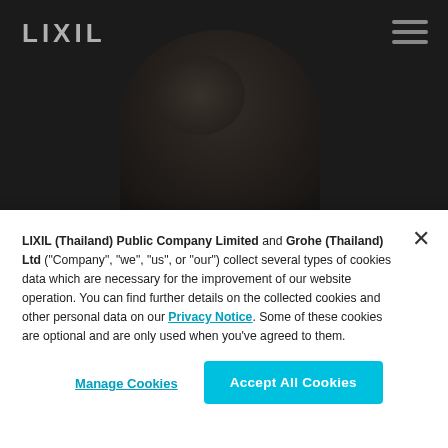[Figure (photo): Dark hero image showing a person's back/head silhouette against a dark background, with LIXIL logo in the top left and hamburger menu icon in the top right]
LIXIL (Thailand) Public Company Limited and Grohe (Thailand) Ltd ("Company", "we", "us", or "our") collect several types of cookies data which are necessary for the improvement of our website operation. You can find further details on the collected cookies and other personal data on our Privacy Notice. Some of these cookies are optional and are only used when you've agreed to them.
Manage Cookies
Accept All Cookies